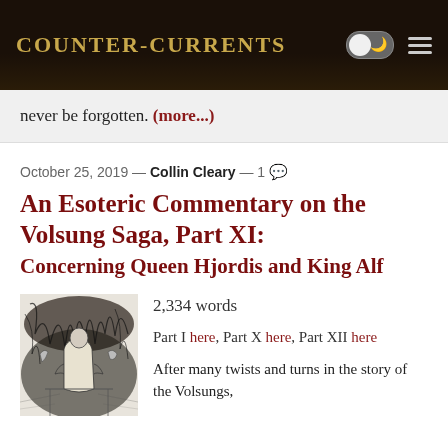Counter-Currents
never be forgotten. (more...)
October 25, 2019 — Collin Cleary — 1 [comment]
An Esoteric Commentary on the Volsung Saga, Part XI: Concerning Queen Hjordis and King Alf
[Figure (illustration): Black and white illustration depicting figures in a dramatic forest or mythological scene, in an engraving style.]
2,334 words
Part I here, Part X here, Part XII here
After many twists and turns in the story of the Volsungs,